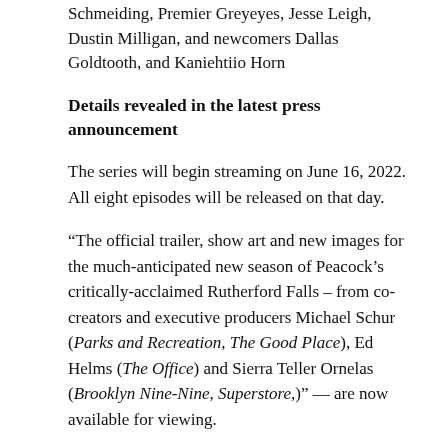Schmeiding, Premier Greyeyes, Jesse Leigh, Dustin Milligan, and newcomers Dallas Goldtooth, and Kaniehtiio Horn
Details revealed in the latest press announcement
The series will begin streaming on June 16, 2022. All eight episodes will be released on that day.
“The official trailer, show art and new images for the much-anticipated new season of Peacock’s critically-acclaimed Rutherford Falls – from co-creators and executive producers Michael Schur (Parks and Recreation, The Good Place), Ed Helms (The Office) and Sierra Teller Ornelas (Brooklyn Nine-Nine, Superstore,)” — are now available for viewing.
The series Rutherford Falls, according to the creators, represents a breakthrough moment in Native representation in comedy television both in front of and behind the camera.
Rutherford Falls is one of the largest Indigenous